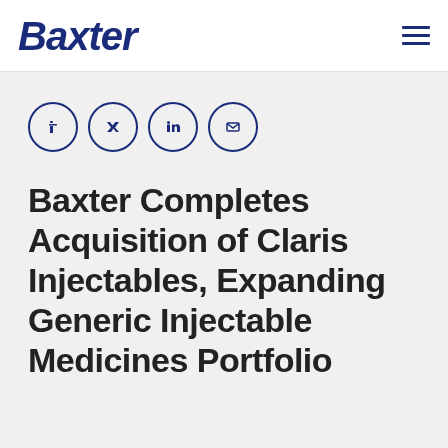Baxter
[Figure (logo): Four social media icon circles (Facebook, Twitter/X, LinkedIn, Email) outlined in dark navy blue]
Baxter Completes Acquisition of Claris Injectables, Expanding Generic Injectable Medicines Portfolio